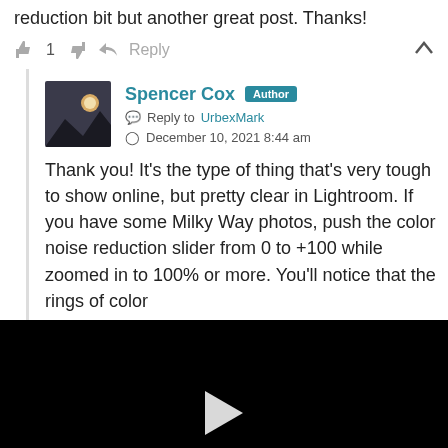reduction bit but another great post. Thanks!
👍 1 👎 ➜ Reply ∧
Spencer Cox Author
☀ Reply to UrbexMark
🕐 December 10, 2021 8:44 am
Thank you! It's the type of thing that's very tough to show online, but pretty clear in Lightroom. If you have some Milky Way photos, push the color noise reduction slider from 0 to +100 while zoomed in to 100% or more. You'll notice that the rings of color
[Figure (other): Black video player area with white play button triangle in center]